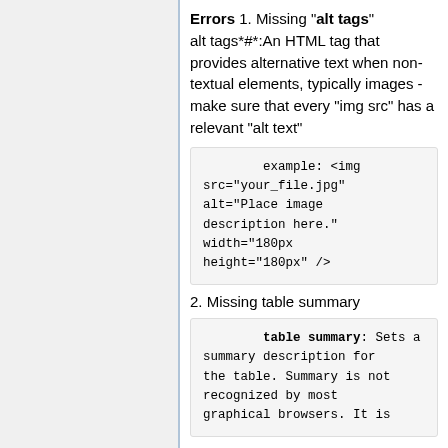Errors 1. Missing "alt tags"
alt tags*#*:An HTML tag that provides alternative text when non-textual elements, typically images - make sure that every "img src" has a relevant "alt text"
example: <img src="your_file.jpg" alt="Place image description here." width="180px height="180px" />
2. Missing table summary
table summary: Sets a summary description for the table. Summary is not recognized by most graphical browsers. It is